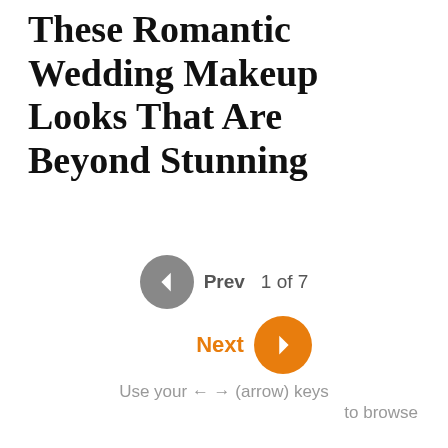These Romantic Wedding Makeup Looks That Are Beyond Stunning
Prev  1 of 7
Next
Use your ← → (arrow) keys
to browse
The wedding day is the most special time in a girl's life. Every girl wants to make it more special with romantic wedding